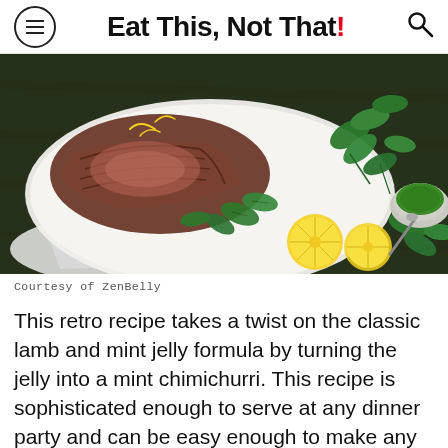Eat This, Not That!
[Figure (photo): Sliced roasted lamb on a white platter garnished with fresh mint leaves and lemon slices, with a small bowl of green mint chimichurri sauce, photographed from above on a dark wooden surface.]
Courtesy of ZenBelly
This retro recipe takes a twist on the classic lamb and mint jelly formula by turning the jelly into a mint chimichurri. This recipe is sophisticated enough to serve at any dinner party and can be easy enough to make any day of the week. If you haven't given lamb a shot, this should be your